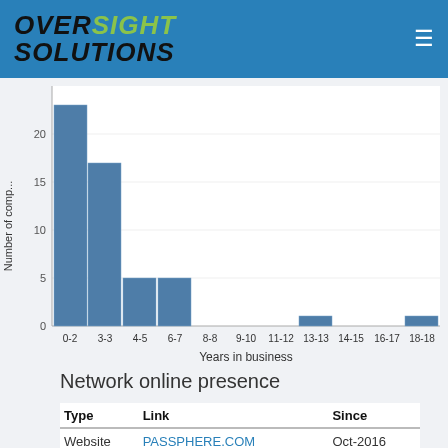OVERSIGHT SOLUTIONS
[Figure (histogram): ]
Network online presence
| Type | Link | Since |
| --- | --- | --- |
| Website | PASSPHERE.COM | Oct-2016 |
| Website | VISTADRINKS.CO.NZ | Dec-2016 |
| Website | WILDXSODA.COM | Aug-2019 |
| Legal | Entity Register |  |